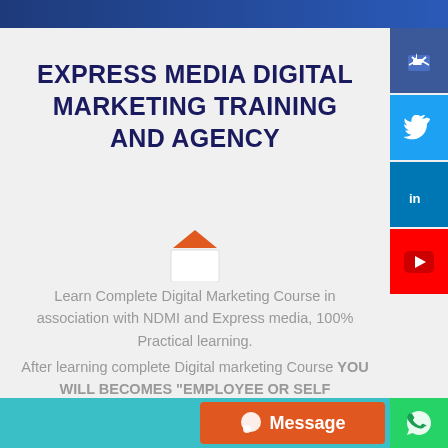EXPRESS MEDIA DIGITAL MARKETING TRAINING AND AGENCY
[Figure (illustration): Envelope icon with orange downward-pointing triangle/arrow above it]
Learn Complete Digital Marketing Course in association with NDMI and Express media, 100% Practical learning.
After learning complete Digital marketing Course YOU WILL BECOMES "EMPLOYEE OR SELF EMPLOYEE" - 100% Assurity.
[Figure (illustration): Social media sidebar buttons: Facebook (thumbs up), Twitter, LinkedIn, YouTube]
[Figure (illustration): Orange Message button with chat icon at bottom right]